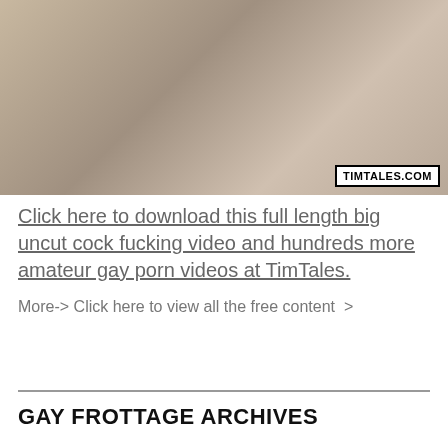[Figure (photo): Adult content photo with TIMTALES.COM watermark]
Click here to download this full length big uncut cock fucking video and hundreds more amateur gay porn videos at TimTales.
More-> Click here to view all the free content >
GAY FROTTAGE ARCHIVES